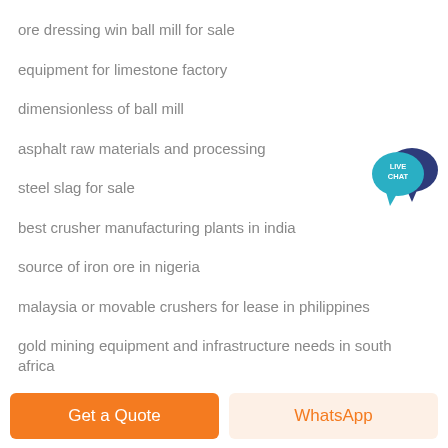ore dressing win ball mill for sale
equipment for limestone factory
dimensionless of ball mill
asphalt raw materials and processing
steel slag for sale
best crusher manufacturing plants in india
source of iron ore in nigeria
malaysia or movable crushers for lease in philippines
gold mining equipment and infrastructure needs in south africa
[Figure (illustration): Live Chat widget with teal speech bubble saying LIVE CHAT and dark blue speech bubble behind it]
Get a Quote
WhatsApp